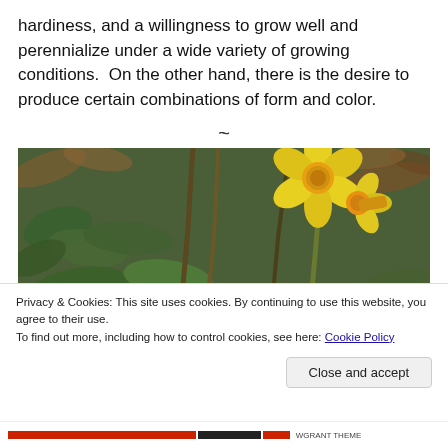hardiness, and a willingness to grow well and perennialize under a wide variety of growing conditions.  On the other hand, there is the desire to produce certain combinations of form and color.
~
[Figure (photo): Close-up photograph of yellow daffodil flowers growing among green leaves and brown dry vegetation on the ground.]
Privacy & Cookies: This site uses cookies. By continuing to use this website, you agree to their use.
To find out more, including how to control cookies, see here: Cookie Policy
Close and accept